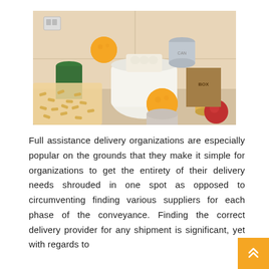[Figure (photo): A photo of grocery/food donation items: pasta, canned goods, oranges, eggs, jars, and other pantry staples arranged together on a countertop.]
Full assistance delivery organizations are especially popular on the grounds that they make it simple for organizations to get the entirety of their delivery needs shrouded in one spot as opposed to circumventing finding various suppliers for each phase of the conveyance. Finding the correct delivery provider for any shipment is significant, yet with regards to